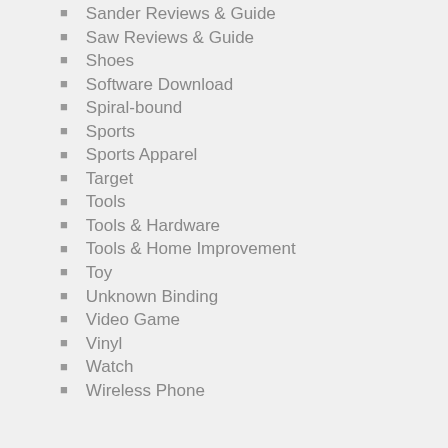Sander Reviews & Guide
Saw Reviews & Guide
Shoes
Software Download
Spiral-bound
Sports
Sports Apparel
Target
Tools
Tools & Hardware
Tools & Home Improvement
Toy
Unknown Binding
Video Game
Vinyl
Watch
Wireless Phone